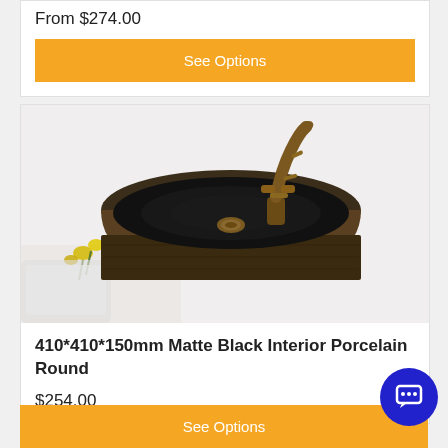From $274.00
See Options
[Figure (photo): A round matte black interior porcelain vessel sink with a bronze/brass faucet, viewed from slightly above. Yellow flowers visible on the left side. White background.]
410*410*150mm Matte Black Interior Porcelain Round
$254.00
See Options